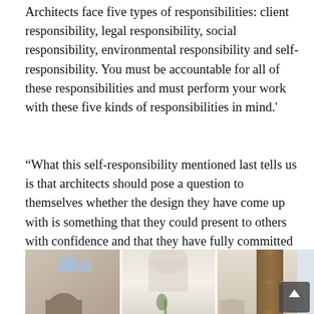Architects face five types of responsibilities: client responsibility, legal responsibility, social responsibility, environmental responsibility and self-responsibility. You must be accountable for all of these responsibilities and must perform your work with these five kinds of responsibilities in mind.'
“What this self-responsibility mentioned last tells us is that architects should pose a question to themselves whether the design they have come up with is something that they could present to others with confidence and that they have fully committed themselves to. These ‘five responsibilities’ underpin my designs.”
[Figure (photo): Three-panel architectural photo strip showing interior spaces: left panel shows a beige wall with arched doorway and small arched windows; middle panel shows a bright minimalist corridor with an arched opening; right panel shows a wood-paneled door and interior hallway with an arched feature.]